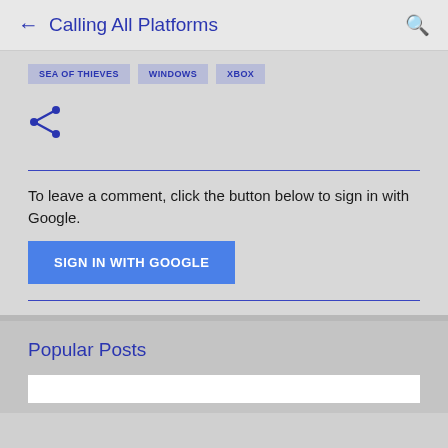← Calling All Platforms 🔍
SEA OF THIEVES
WINDOWS
XBOX
[Figure (infographic): Share icon (less-than-style social share icon) in dark blue]
To leave a comment, click the button below to sign in with Google.
SIGN IN WITH GOOGLE
Popular Posts